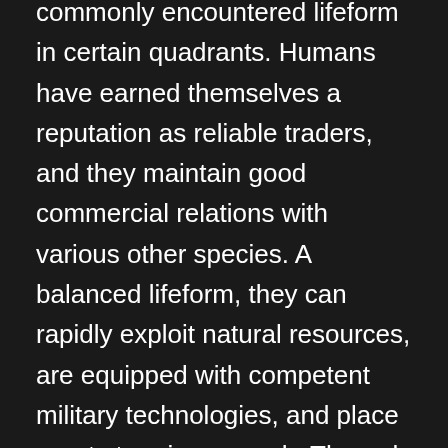commonly encountered lifeform in certain quadrants. Humans have earned themselves a reputation as reliable traders, and they maintain good commercial relations with various other species. A balanced lifeform, they can rapidly exploit natural resources, are equipped with competent military technologies, and place great store in research. Through terraforming planets, they are capable of constructing more buildings and know how to defend themselves when under attack.
Humans are a lifeform with a wide range of skills, including the unique ability to detect other lifeforms. Their food production and population growth are balanced, and they increase resource production on all